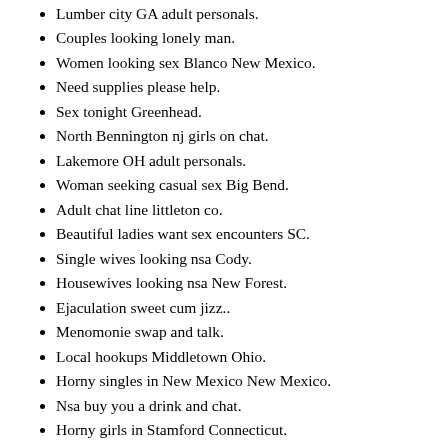Lumber city GA adult personals.
Couples looking lonely man.
Women looking sex Blanco New Mexico.
Need supplies please help.
Sex tonight Greenhead.
North Bennington nj girls on chat.
Lakemore OH adult personals.
Woman seeking casual sex Big Bend.
Adult chat line littleton co.
Beautiful ladies want sex encounters SC.
Single wives looking nsa Cody.
Housewives looking nsa New Forest.
Ejaculation sweet cum jizz..
Menomonie swap and talk.
Local hookups Middletown Ohio.
Horny singles in New Mexico New Mexico.
Nsa buy you a drink and chat.
Horny girls in Stamford Connecticut.
Eureka WI sex dating.
Horny singles Fort Collins.
If you are bored want to have fun.
email: bznpbsahnl@gmail.com - phone:(994) 428-8166 x 8606
Horny women Warwick.